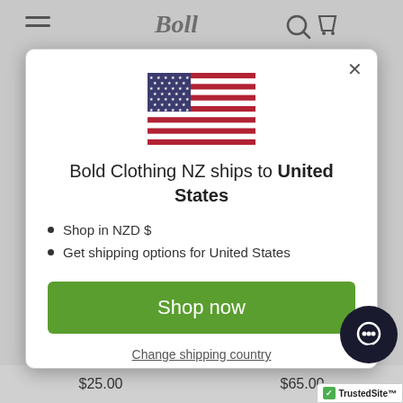[Figure (screenshot): Background of a website navigation bar with hamburger menu and logo partially visible]
[Figure (illustration): United States flag SVG illustration]
Bold Clothing NZ ships to United States
Shop in NZD $
Get shipping options for United States
Shop now
Change shipping country
[Figure (logo): TrustedSite badge with green checkmark]